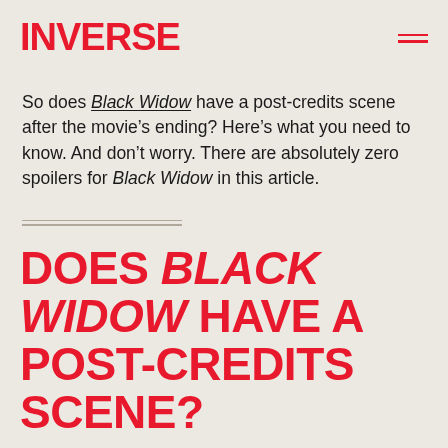INVERSE
So does Black Widow have a post-credits scene after the movie’s ending? Here’s what you need to know. And don’t worry. There are absolutely zero spoilers for Black Widow in this article.
DOES BLACK WIDOW HAVE A POST-CREDITS SCENE?